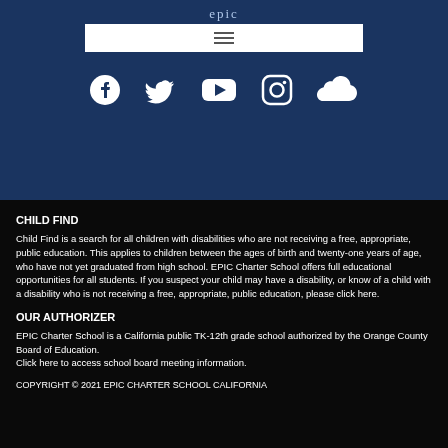[Figure (logo): EPIC Charter School logo text in light blue on dark navy background]
[Figure (screenshot): White nav bar with hamburger menu icon (three horizontal lines)]
[Figure (infographic): Social media icons: Facebook, Twitter, YouTube, Instagram, SoundCloud — white icons on dark navy background]
CHILD FIND
Child Find is a search for all children with disabilities who are not receiving a free, appropriate, public education. This applies to children between the ages of birth and twenty-one years of age, who have not yet graduated from high school. EPIC Charter School offers full educational opportunities for all students. If you suspect your child may have a disability, or know of a child with a disability who is not receiving a free, appropriate, public education, please click here.
OUR AUTHORIZER
EPIC Charter School is a California public TK-12th grade school authorized by the Orange County Board of Education.
Click here to access school board meeting information.
COPYRIGHT © 2021 EPIC CHARTER SCHOOL CALIFORNIA